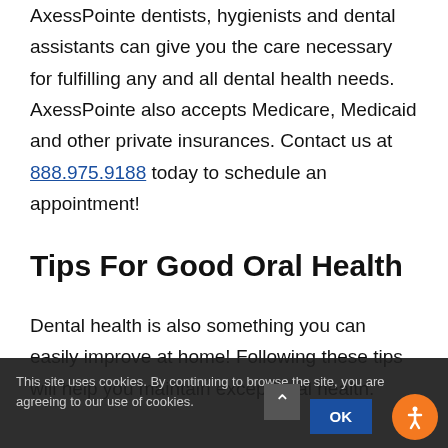AxessPointe dentists, hygienists and dental assistants can give you the care necessary for fulfilling any and all dental health needs. AxessPointe also accepts Medicare, Medicaid and other private insurances. Contact us at 888.975.9188 today to schedule an appointment!
Tips For Good Oral Health
Dental health is also something you can easily improve at home! Following these tips will help you maintain exceptional health.
This site uses cookies. By continuing to browse the site, you are agreeing to our use of cookies.